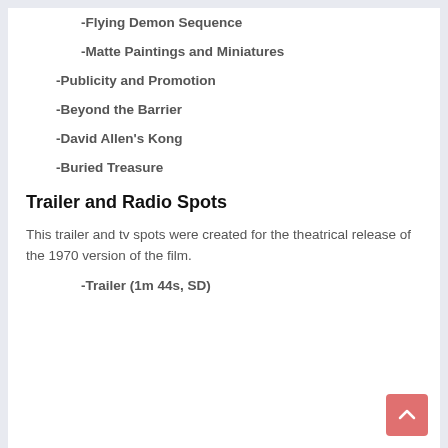-Flying Demon Sequence
-Matte Paintings and Miniatures
-Publicity and Promotion
-Beyond the Barrier
-David Allen's Kong
-Buried Treasure
Trailer and Radio Spots
This trailer and tv spots were created for the theatrical release of the 1970 version of the film.
-Trailer (1m 44s, SD)